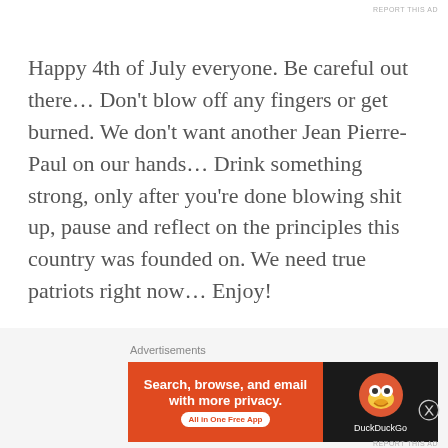REPORT THIS AD
Happy 4th of July everyone. Be careful out there… Don't blow off any fingers or get burned. We don't want another Jean Pierre-Paul on our hands… Drink something strong, only after you're done blowing shit up, pause and reflect on the principles this country was founded on. We need true patriots right now… Enjoy!
p.s. This playlist can now be found on Spotify under BourbonAndViny.net 4th of July
Enjoy!
Advertisements
[Figure (screenshot): DuckDuckGo advertisement banner: orange section with text 'Search, browse, and email with more privacy. All in One Free App' and dark section with DuckDuckGo duck logo and brand name.]
REPORT THIS AD